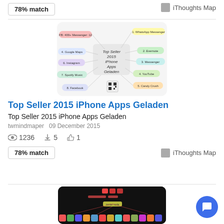78% match
iThoughts Map
[Figure (illustration): Mind map titled 'Top Seller 2015 iPhone Apps Geladen' with nodes for apps including WhatsApp Messenger, Evernote, Messenger, YouTube, Candy Crush, Facebook, Spotify Music, Instagram, Google Maps, on a white rounded rectangle background.]
Top Seller 2015 iPhone Apps Geladen
Top Seller 2015 iPhone Apps Geladen
twmindmaper   09 December 2015
1236   5   1
78% match
iThoughts Map
[Figure (screenshot): Dark-themed mind map with red/orange nodes on a black background, showing various app icons along the bottom.]